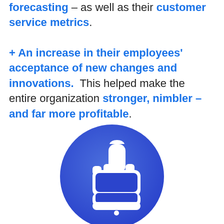forecasting – as well as their customer service metrics.  + An increase in their employees' acceptance of new changes and innovations.  This helped make the entire organization stronger, nimbler – and far more profitable.
[Figure (illustration): A thumbs-up icon: white thumbs-up silhouette on a blue circle gradient background]